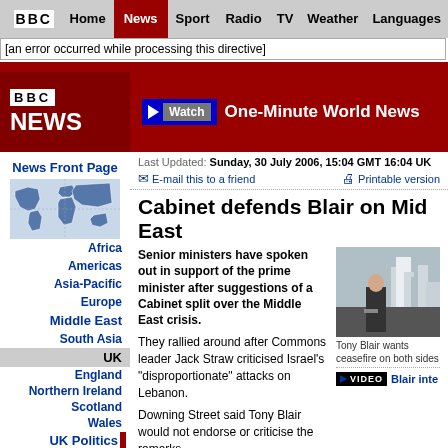BBC | Home | News | Sport | Radio | TV | Weather | Languages
[an error occurred while processing this directive]
[Figure (logo): BBC News logo with red background]
Watch One-Minute World News
News Front Page
[Figure (map): World map graphic for BBC News navigation]
Africa
Americas
Asia-Pacific
Europe
Middle East
South Asia
UK
England
Northern Ireland
Scotland
Wales
UK Politics
Education
Magazine
Business
Last Updated: Sunday, 30 July 2006, 15:04 GMT 16:04 UK
E-mail this to a friend   Printable version
Cabinet defends Blair on Mid East
Senior ministers have spoken out in support of the prime minister after suggestions of a Cabinet split over the Middle East crisis.
They rallied around after Commons leader Jack Straw criticised Israel's "disproportionate" attacks on Lebanon.
Downing Street said Tony Blair would not endorse or criticise the remarks.
[Figure (photo): Aerial photo of city with Tony Blair visible]
Tony Blair wants ceasefire on both sides
Blair inte...
Foreign Secretary Margaret Beckett and Lord Chancellor have both backed the prime minister and dismissed rep...